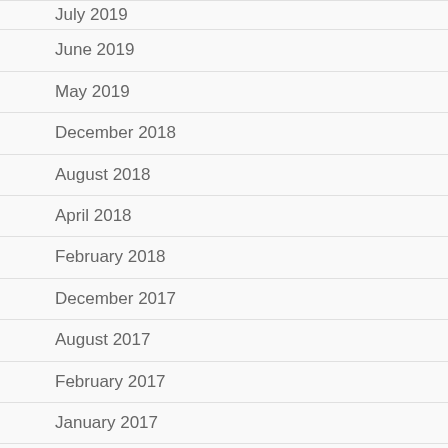July 2019
June 2019
May 2019
December 2018
August 2018
April 2018
February 2018
December 2017
August 2017
February 2017
January 2017
December 2016
November 2016